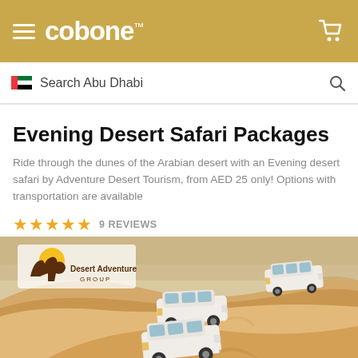cobone™
Search Abu Dhabi
Evening Desert Safari Packages
Ride through the dunes of the Arabian desert with an Evening desert safari by Adventure Desert Tourism, from AED 25 only! Options with transportation are available
★★★★★ 9 REVIEWS
[Figure (photo): Three white SUVs driving over sandy desert dunes. Desert Adventure Group logo in top-left corner showing a camel silhouette with sun.]